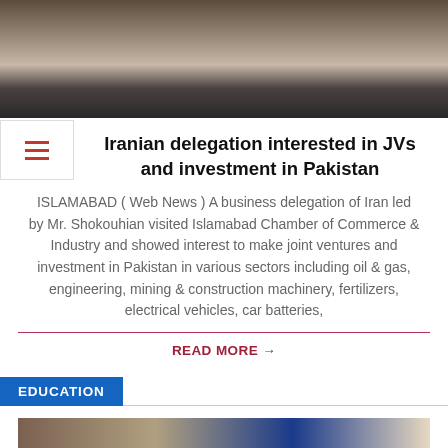[Figure (photo): Photo of people standing, partial view showing lower bodies and formal attire]
Iranian delegation interested in JVs and investment in Pakistan
ISLAMABAD ( Web News ) A business delegation of Iran led by Mr. Shokouhian visited Islamabad Chamber of Commerce & Industry and showed interest to make joint ventures and investment in Pakistan in various sectors including oil & gas, engineering, mining & construction machinery, fertilizers, electrical vehicles, car batteries,
READ MORE →
EDUCATION
[Figure (photo): Partial photo at bottom of page, appears to show a presentation or meeting]